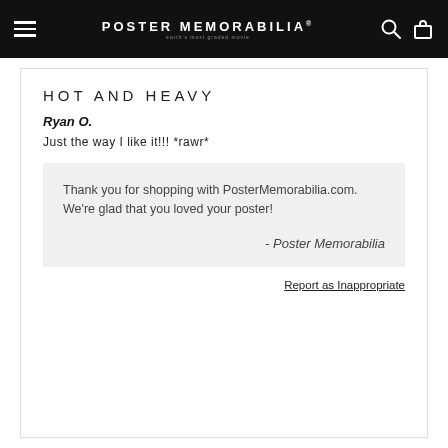POSTER MEMORABILIA
HOT AND HEAVY
Ryan O.
Just the way I like it!!! *rawr*
Thank you for shopping with PosterMemorabilia.com. We're glad that you loved your poster!
- Poster Memorabilia
Report as Inappropriate